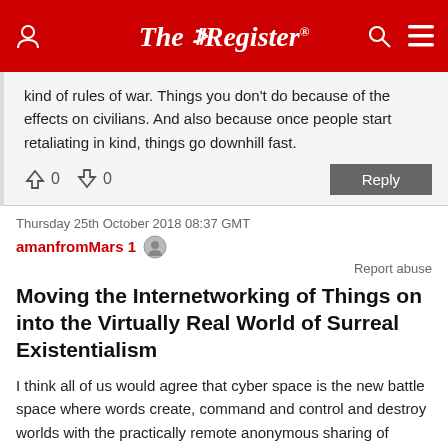The Register
kind of rules of war. Things you don't do because of the effects on civilians. And also because once people start retaliating in kind, things go downhill fast.
↑0  ↓0   Reply
Thursday 25th October 2018 08:37 GMT
amanfromMars 1
Report abuse
Moving the Internetworking of Things on into the Virtually Real World of Surreal Existentialism
I think all of us would agree that cyber space is the new battle space where words create, command and control and destroy worlds with the practically remote anonymous sharing of Future ACTions against which there...